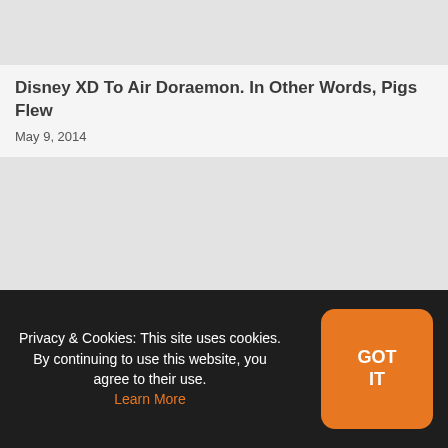[Figure (other): Gray placeholder image at top of article]
Disney XD To Air Doraemon. In Other Words, Pigs Flew
May 9, 2014
[Figure (other): Gray placeholder image below article header]
Privacy & Cookies: This site uses cookies. By continuing to use this website, you agree to their use. Learn More